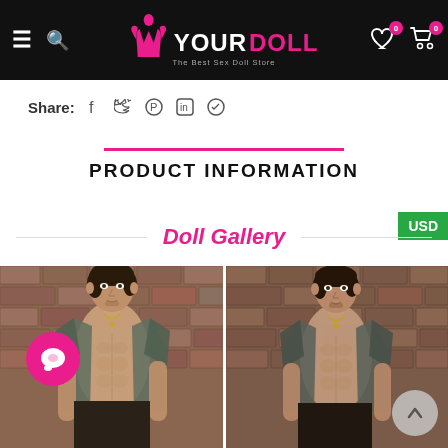YOURDOLL - The Best Sex Doll Store
Share:
PRODUCT INFORMATION
USD
Doll Gallery
[Figure (photo): Two side-by-side photos of a male doll with dark hair, open shirt showing torso, against a brick wall background]
Chat bubble icon (pink round button) and scroll-to-top arrow button